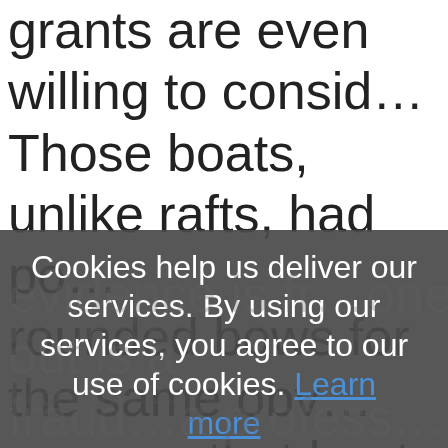grants are even willing to consid… Those boats, unlike rafts, had po… rounded bows for the same obv… reasons that boats now do
Cookies help us deliver our services. By using our services, you agree to our use of cookies. Learn more
OK